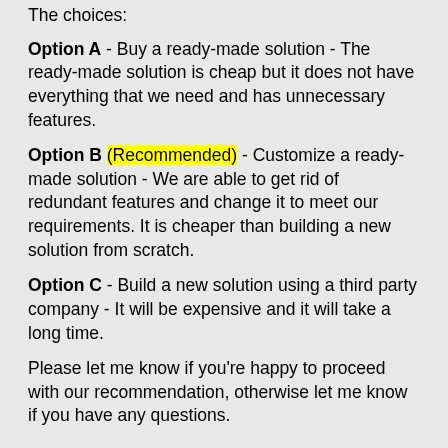The choices:
Option A - Buy a ready-made solution - The ready-made solution is cheap but it does not have everything that we need and has unnecessary features.
Option B (Recommended) - Customize a ready-made solution - We are able to get rid of redundant features and change it to meet our requirements. It is cheaper than building a new solution from scratch.
Option C - Build a new solution using a third party company - It will be expensive and it will take a long time.
Please let me know if you're happy to proceed with our recommendation, otherwise let me know if you have any questions.